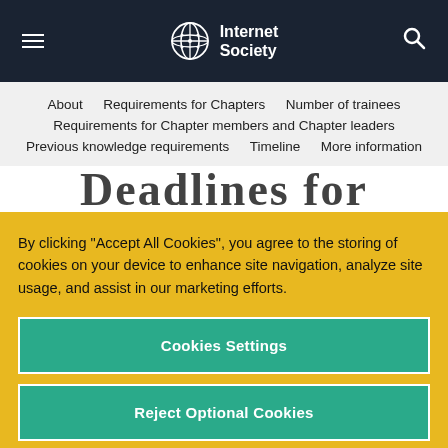Internet Society
About   Requirements for Chapters   Number of trainees   Requirements for Chapter members and Chapter leaders   Previous knowledge requirements   Timeline   More information
Deadlines for
By clicking “Accept All Cookies”, you agree to the storing of cookies on your device to enhance site navigation, analyze site usage, and assist in our marketing efforts.
Cookies Settings
Reject Optional Cookies
Accept All Cookies